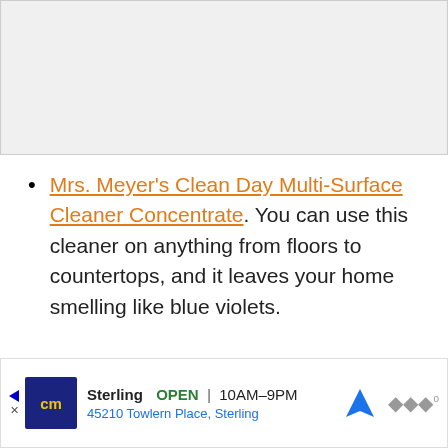[Figure (photo): Top image area (partially visible, grey background placeholder)]
Mrs. Meyer's Clean Day Multi-Surface Cleaner Concentrate. You can use this cleaner on anything from floors to countertops, and it leaves your home smelling like blue violets.
[Figure (photo): Partial product image of Mrs. Meyer's Clean Day Multi-Surface Cleaner Concentrate bottle (white bottle with dark cap, partially cut off at bottom of page)]
Sterling  OPEN  10AM–9PM  45210 Towlern Place, Sterling  [CM advertisement banner]